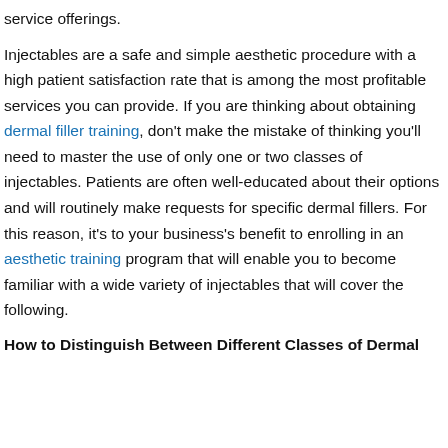service offerings.
Injectables are a safe and simple aesthetic procedure with a high patient satisfaction rate that is among the most profitable services you can provide. If you are thinking about obtaining dermal filler training, don't make the mistake of thinking you'll need to master the use of only one or two classes of injectables. Patients are often well-educated about their options and will routinely make requests for specific dermal fillers. For this reason, it's to your business's benefit to enrolling in an aesthetic training program that will enable you to become familiar with a wide variety of injectables that will cover the following.
How to Distinguish Between Different Classes of Dermal